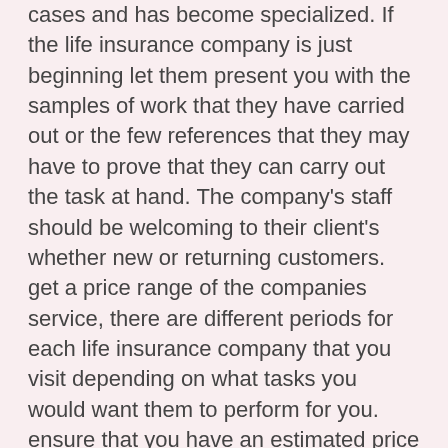cases and has become specialized. If the life insurance company is just beginning let them present you with the samples of work that they have carried out or the few references that they may have to prove that they can carry out the task at hand. The company's staff should be welcoming to their client's whether new or returning customers.
get a price range of the companies service, there are different periods for each life insurance company that you visit depending on what tasks you would want them to perform for you. ensure that you have an estimated price range that you would want a life insurance company to work with, this is in form of a budget. the budget will help in the time of sourcing out the right life insurance company after getting multiple price ranges from different companies you can cut down to the one that fits you the most.
A life insurance company should be located in a place that is convenient for you. check the local area to see if